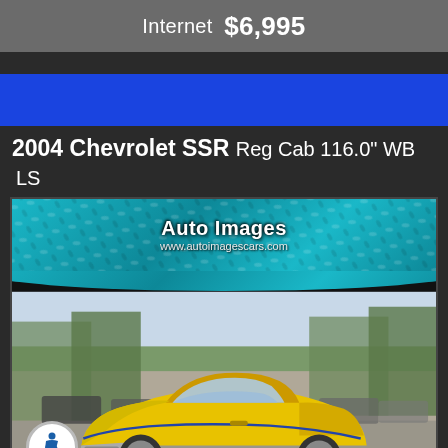Internet $6,995
[Figure (other): Blue banner strip used as decorative header element]
2004 Chevrolet SSR Reg Cab 116.0" WB LS
[Figure (photo): Auto Images dealership banner with diamond-plate teal background and text: Auto Images, www.autoimagescars.com. Below is a photo of a yellow 2004 Chevrolet SSR sport truck parked in a dealership lot with trees in background.]